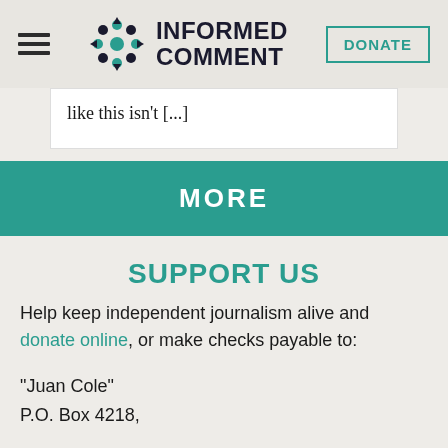INFORMED COMMENT | DONATE
like this isn't [...]
MORE
SUPPORT US
Help keep independent journalism alive and donate online, or make checks payable to:
"Juan Cole"
P.O. Box 4218,